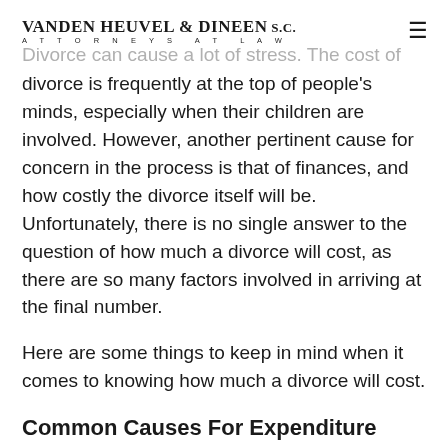VANDEN HEUVEL & DINEEN S.C. | ATTORNEYS AT LAW
Divorce can cause a lot of stress. The cost of divorce is frequently at the top of people's minds, especially when their children are involved. However, another pertinent cause for concern in the process is that of finances, and how costly the divorce itself will be. Unfortunately, there is no single answer to the question of how much a divorce will cost, as there are so many factors involved in arriving at the final number.
Here are some things to keep in mind when it comes to knowing how much a divorce will cost.
Common Causes For Expenditure
Couples frequently disagree on critical subjects in their